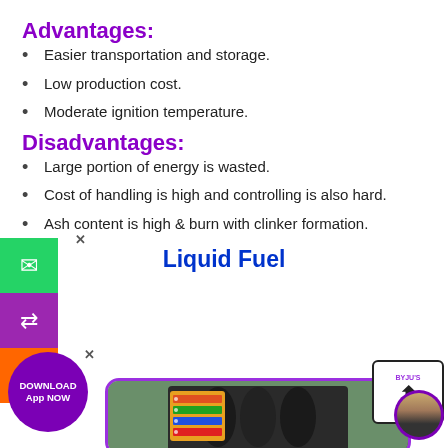Advantages:
Easier transportation and storage.
Low production cost.
Moderate ignition temperature.
Disadvantages:
Large portion of energy is wasted.
Cost of handling is high and controlling is also hard.
Ash content is high & burn with clinker formation.
Liquid Fuel
[Figure (photo): Photo of liquid fuel gas station pumps with colorful nozzles and pricing display, bordered with purple rounded rectangle]